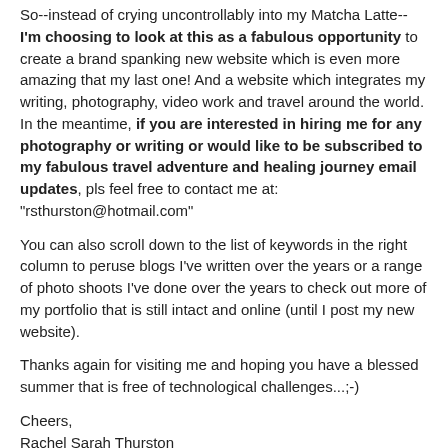So--instead of crying uncontrollably into my Matcha Latte-- I'm choosing to look at this as a fabulous opportunity to create a brand spanking new website which is even more amazing that my last one! And a website which integrates my writing, photography, video work and travel around the world. In the meantime, if you are interested in hiring me for any photography or writing or would like to be subscribed to my fabulous travel adventure and healing journey email updates, pls feel free to contact me at: "rsthurston@hotmail.com"
You can also scroll down to the list of keywords in the right column to peruse blogs I've written over the years or a range of photo shoots I've done over the years to check out more of my portfolio that is still intact and online (until I post my new website).
Thanks again for visiting me and hoping you have a blessed summer that is free of technological challenges...;-)
Cheers,
Rachel Sarah Thurston